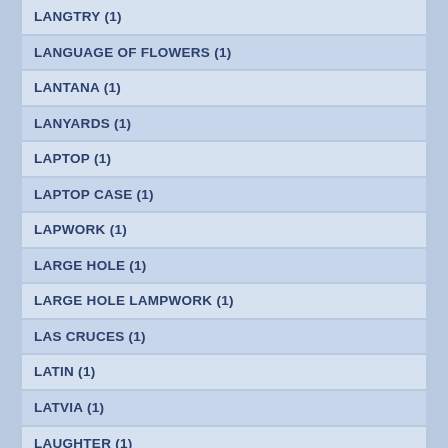LANGTRY (1)
LANGUAGE OF FLOWERS (1)
LANTANA (1)
LANYARDS (1)
LAPTOP (1)
LAPTOP CASE (1)
LAPWORK (1)
LARGE HOLE (1)
LARGE HOLE LAMPWORK (1)
LAS CRUCES (1)
LATIN (1)
LATVIA (1)
LAUGHTER (1)
LAUSCAUX CAVE (1)
LEAFS (1)
LEAFY (1)
LEMON JADE (1)